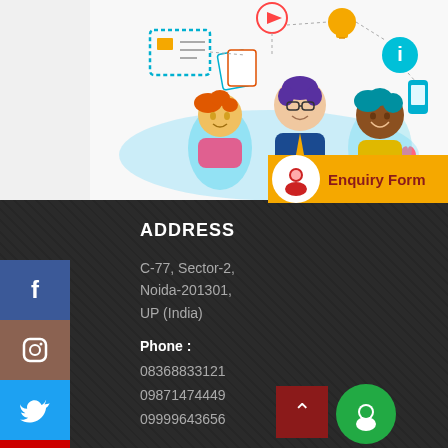[Figure (illustration): Colorful flat illustration of three cartoon people (one with orange hair, one with purple hair and glasses, one with teal hair) surrounded by education/learning icons including a certificate, lightbulb, info icon, playing cards, phone, and heart, connected by dotted lines on a light blue background.]
[Figure (infographic): Enquiry Form button with orange/yellow background, person icon in white circle, and dark red bold text reading 'Enquiry Form']
ADDRESS
C-77, Sector-2,
Noida-201301,
UP (India)
Phone :
08368833121
09871474449
09999643656